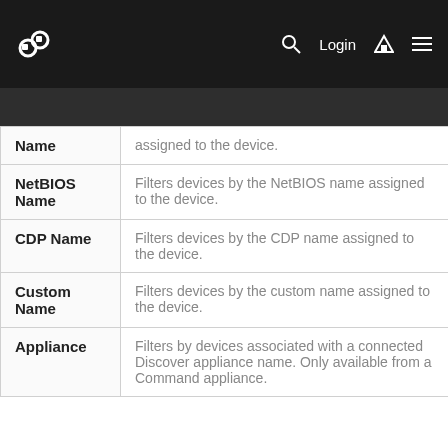Login
| Option | Description |
| --- | --- |
| Name | assigned to the device. |
| NetBIOS Name | Filters devices by the NetBIOS name assigned to the device. |
| CDP Name | Filters devices by the CDP name assigned to the device. |
| Custom Name | Filters devices by the custom name assigned to the device. |
| Appliance | Filters by devices associated with a connected Discover appliance name. Only available from a Command appliance. |